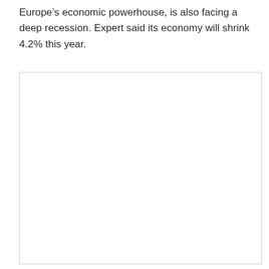Europe's economic powerhouse, is also facing a deep recession. Expert said its economy will shrink 4.2% this year.
[Figure (other): Empty white box with a border, likely placeholder for an image or chart.]